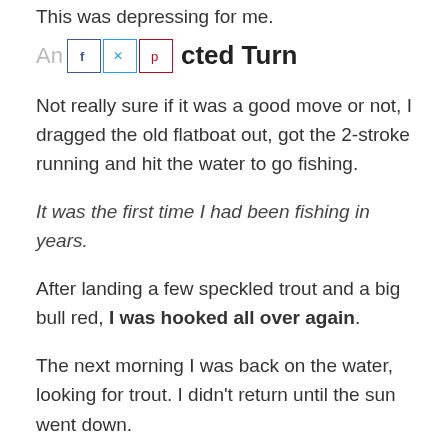This was depressing for me.
An Unexpected Turn
Not really sure if it was a good move or not, I dragged the old flatboat out, got the 2-stroke running and hit the water to go fishing.
It was the first time I had been fishing in years.
After landing a few speckled trout and a big bull red, I was hooked all over again.
The next morning I was back on the water, looking for trout. I didn't return until the sun went down.
And then again. And then again. And again. Always chasing the fish.
I eventually learned what I was really after. It was